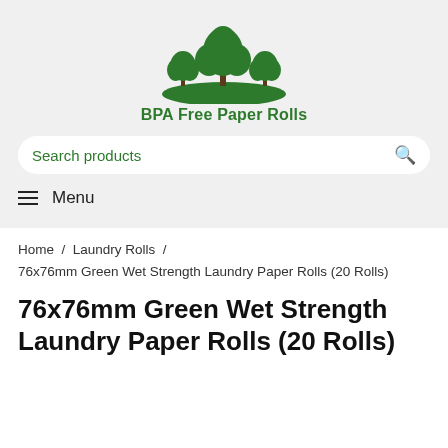[Figure (logo): BPA Free Paper Rolls logo with green trees illustration above the brand name]
Search products
≡ Menu
Home / Laundry Rolls / 76x76mm Green Wet Strength Laundry Paper Rolls (20 Rolls)
76x76mm Green Wet Strength Laundry Paper Rolls (20 Rolls)